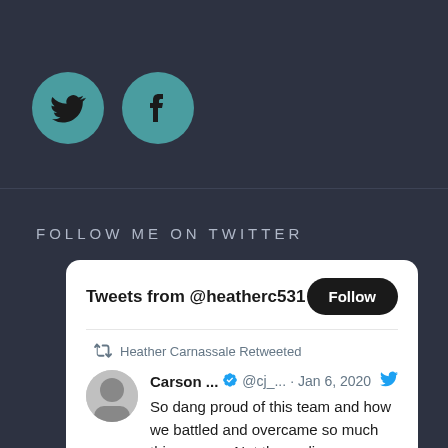[Figure (logo): Twitter bird icon in teal circle]
[Figure (logo): Facebook f icon in teal circle]
FOLLOW ME ON TWITTER
Tweets from @heatherc531
Heather Carnassale Retweeted
Carson ... @cj_... · Jan 6, 2020
So dang proud of this team and how we battled and overcame so much this season. Not the ending we envisioned but we will all